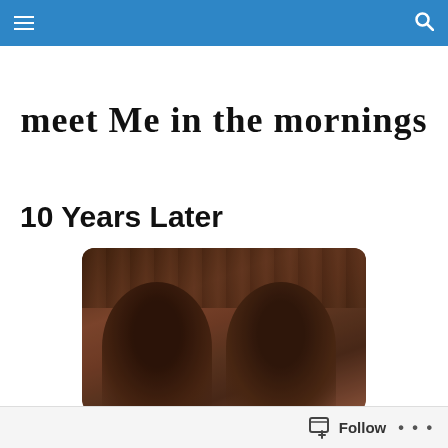Navigation bar with hamburger menu and search icon
meet Me in the mornings
10 Years Later
[Figure (photo): A close-up photo of two people (a couple) with dark hair, shown from the shoulders up, in warm reddish-brown tones. The image has a vintage Instagram filter look with a white border and rounded corners.]
Follow ...